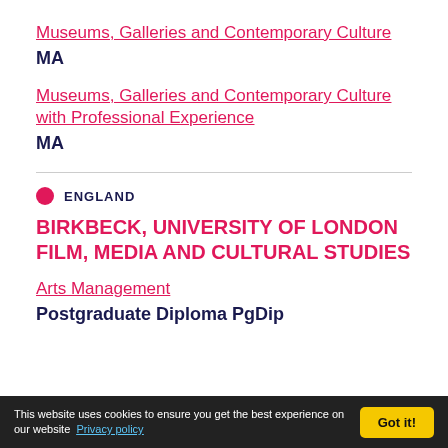Museums, Galleries and Contemporary Culture
MA
Museums, Galleries and Contemporary Culture with Professional Experience
MA
ENGLAND
BIRKBECK, UNIVERSITY OF LONDON FILM, MEDIA AND CULTURAL STUDIES
Arts Management
Postgraduate Diploma PgDip
This website uses cookies to ensure you get the best experience on our website Privacy policy Got it!